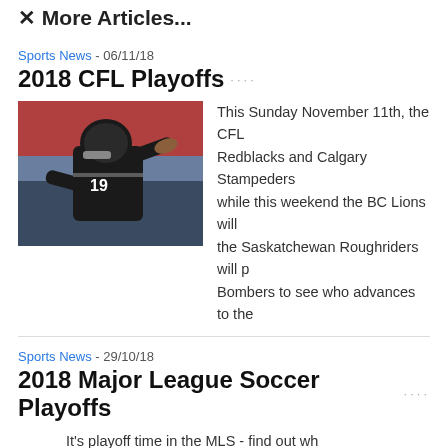✕ More Articles...
Sports News - 06/11/18
2018 CFL Playoffs ····
[Figure (photo): Football player wearing jersey number 19, throwing a pass, in a dark uniform]
This Sunday November 11th, the CFL Redblacks and Calgary Stampeders while this weekend the BC Lions will the Saskatchewan Roughriders will p Bombers to see who advances to the
Sports News - 29/10/18
2018 Major League Soccer Playoffs ····
It's playoff time in the MLS - find out wh the favourites are and of course betting matchup.